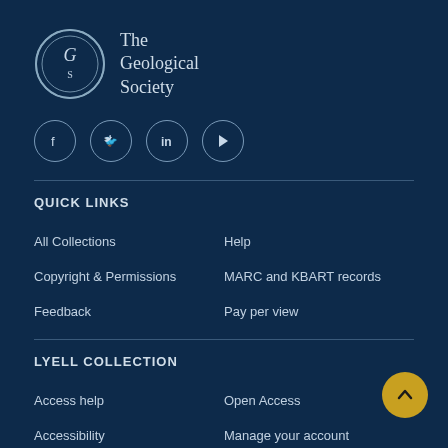[Figure (logo): The Geological Society circular logo with text 'The Geological Society' beside it]
[Figure (infographic): Four social media icons in circles: Facebook (f), Twitter (bird), LinkedIn (in), YouTube (play button)]
QUICK LINKS
All Collections
Help
Copyright & Permissions
MARC and KBART records
Feedback
Pay per view
LYELL COLLECTION
Access help
Open Access
Accessibility
Manage your account
Digital preservation
Publishing policies